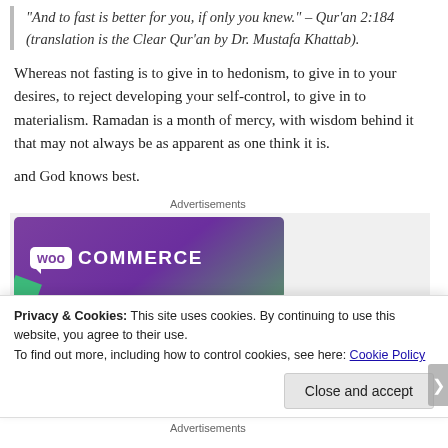“And to fast is better for you, if only you knew.” – Qur’an 2:184 (translation is the Clear Qur’an by Dr. Mustafa Khattab).
Whereas not fasting is to give in to hedonism, to give in to your desires, to reject developing your self-control, to give in to materialism. Ramadan is a month of mercy, with wisdom behind it that may not always be as apparent as one think it is.
and God knows best.
[Figure (logo): WooCommerce advertisement banner with purple gradient background and WooCommerce logo in white]
Privacy & Cookies: This site uses cookies. By continuing to use this website, you agree to their use.
To find out more, including how to control cookies, see here: Cookie Policy
Close and accept
Advertisements